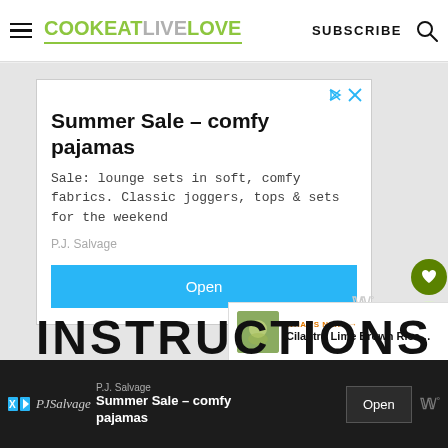COOKEATLIVELOVE  SUBSCRIBE
[Figure (screenshot): Advertisement box: Summer Sale – comfy pajamas. Sale: lounge sets in soft, comfy fabrics. Classic joggers, tops & sets for the weekend. P.J. Salvage. Open button.]
INSTRUCTIONS
[Figure (screenshot): Bottom ad banner: PJ Salvage Summer Sale – comfy pajamas. Open button. W logo.]